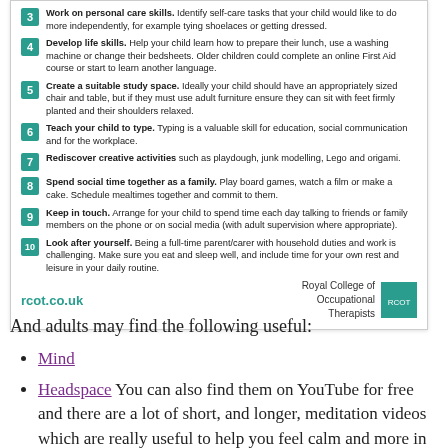3. Work on personal care skills. Identify self-care tasks that your child would like to do more independently, for example tying shoelaces or getting dressed.
4. Develop life skills. Help your child learn how to prepare their lunch, use a washing machine or change their bedsheets. Older children could complete an online First Aid course or start to learn another language.
5. Create a suitable study space. Ideally your child should have an appropriately sized chair and table, but if they must use adult furniture ensure they can sit with feet firmly planted and their shoulders relaxed.
6. Teach your child to type. Typing is a valuable skill for education, social communication and for the workplace.
7. Rediscover creative activities such as playdough, junk modelling, Lego and origami.
8. Spend social time together as a family. Play board games, watch a film or make a cake. Schedule mealtimes together and commit to them.
9. Keep in touch. Arrange for your child to spend time each day talking to friends or family members on the phone or on social media (with adult supervision where appropriate).
10. Look after yourself. Being a full-time parent/carer with household duties and work is challenging. Make sure you eat and sleep well, and include time for your own rest and leisure in your daily routine.
rcot.co.uk
Royal College of Occupational Therapists
And adults may find the following useful:
Mind
Headspace You can also find them on YouTube for free and there are a lot of short, and longer, meditation videos which are really useful to help you feel calm and more in